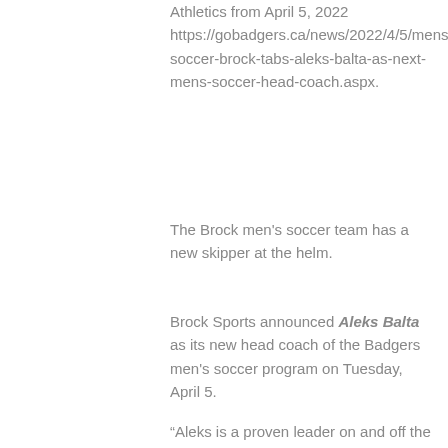Athletics from April 5, 2022 https://gobadgers.ca/news/2022/4/5/mens-soccer-brock-tabs-aleks-balta-as-next-mens-soccer-head-coach.aspx.
The Brock men’s soccer team has a new skipper at the helm.
Brock Sports announced Aleks Balta as its new head coach of the Badgers men’s soccer program on Tuesday, April 5.
“Aleks is a proven leader on and off the pitch who will elevate our men’s soccer team to new heights while ensuring our student-athletes continue to pursue academic excellence,” said Melissa Krist, Director, Brock Sports. “We are building programs at Brock. Aleks understands the student-athlete experience